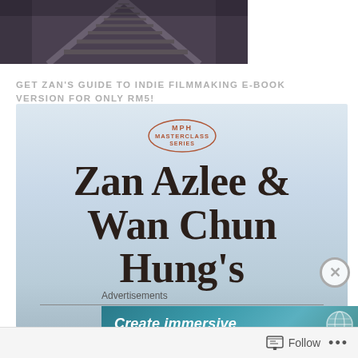[Figure (photo): Railroad tracks photo at the top of the page]
GET ZAN'S GUIDE TO INDIE FILMMAKING E-BOOK VERSION FOR ONLY RM5!
[Figure (illustration): Book cover for MPH Masterclass Series featuring Zan Azlee & Wan Chun Hung's, light blue gradient background with large bold serif title text and MPH Masterclass Series logo at top]
Advertisements
[Figure (screenshot): Create immersive advertisement banner with teal gradient background and globe icon]
Follow